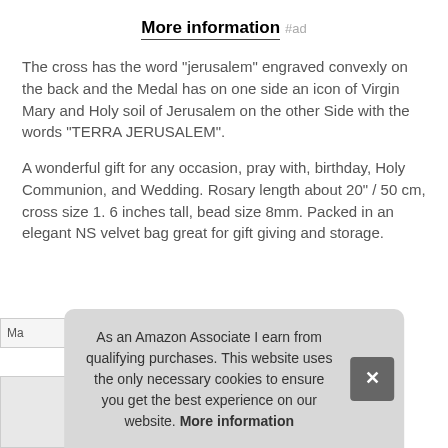More information #ad
The cross has the word "jerusalem" engraved convexly on the back and the Medal has on one side an icon of Virgin Mary and Holy soil of Jerusalem on the other Side with the words "TERRA JERUSALEM".
A wonderful gift for any occasion, pray with, birthday, Holy Communion, and Wedding. Rosary length about 20" / 50 cm, cross size 1. 6 inches tall, bead size 8mm. Packed in an elegant NS velvet bag great for gift giving and storage.
As an Amazon Associate I earn from qualifying purchases. This website uses the only necessary cookies to ensure you get the best experience on our website. More information